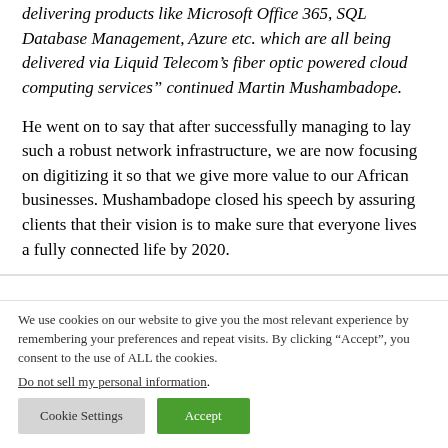delivering products like Microsoft Office 365, SQL Database Management, Azure etc. which are all being delivered via Liquid Telecom's fiber optic powered cloud computing services" continued Martin Mushambadope.
He went on to say that after successfully managing to lay such a robust network infrastructure, we are now focusing on digitizing it so that we give more value to our African businesses. Mushambadope closed his speech by assuring clients that their vision is to make sure that everyone lives a fully connected life by 2020.
We use cookies on our website to give you the most relevant experience by remembering your preferences and repeat visits. By clicking “Accept”, you consent to the use of ALL the cookies.
Do not sell my personal information.